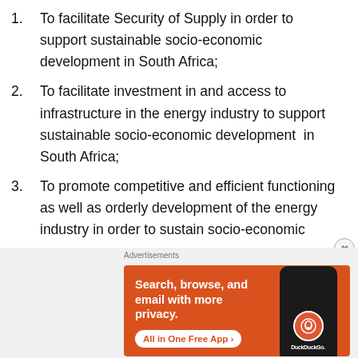1.    To facilitate Security of Supply in order to support sustainable socio-economic development in South Africa;
2.    To facilitate investment in and access to infrastructure in the energy industry to support sustainable socio-economic development  in South Africa;
3.    To promote competitive and efficient functioning as well as orderly development of the energy industry in order to sustain socio-economic development in South Africa;
[Figure (illustration): DuckDuckGo advertisement banner: orange background with text 'Search, browse, and email with more privacy. All in One Free App' and a phone image showing DuckDuckGo logo]